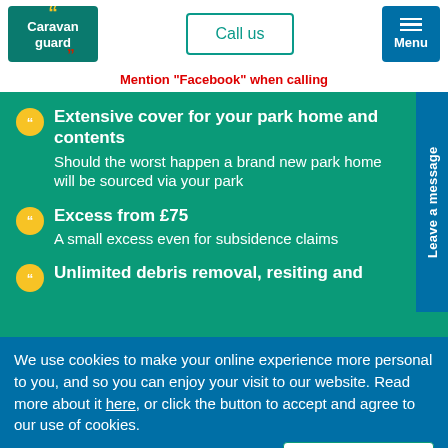[Figure (logo): Caravan Guard logo - teal background with white text and yellow/red quotation marks]
Call us
[Figure (illustration): Menu button - blue with three horizontal lines and Menu text]
Mention "Facebook" when calling
Extensive cover for your park home and contents - Should the worst happen a brand new park home will be sourced via your park
Excess from £75 - A small excess even for subsidence claims
Unlimited debris removal, resiting and
Leave a message
We use cookies to make your online experience more personal to you, and so you can enjoy your visit to our website. Read more about it here, or click the button to accept and agree to our use of cookies.
Continue & close